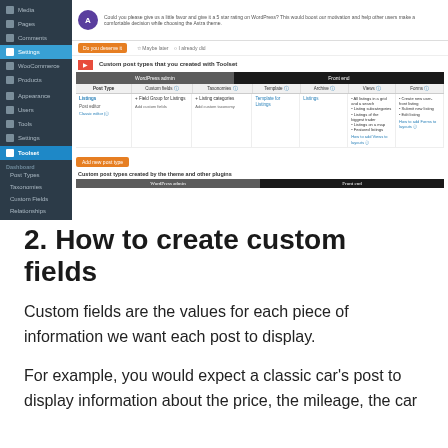[Figure (screenshot): WordPress admin dashboard screenshot showing Toolset plugin with custom post types table. Sidebar shows menu items including Settings highlighted, Toolset section with Dashboard, Post Types, Taxonomies, Custom Fields, Relationships, Access Control, Views, Content Templates. Main area shows a table for 'Custom post types that you created with Toolset' with columns: Post Type, Custom Fields, Taxonomies, Template, Archive, Views, Forms under WordPress admin and Front end sections. A 'Listings' post type row is visible with associated links and options. An orange 'Add new post type' button is present. Below is a section for 'Custom post types created by the theme and other plugins' with another WordPress admin / Front end table header.]
2. How to create custom fields
Custom fields are the values for each piece of information we want each post to display.
For example, you would expect a classic car's post to display information about the price, the mileage, the car